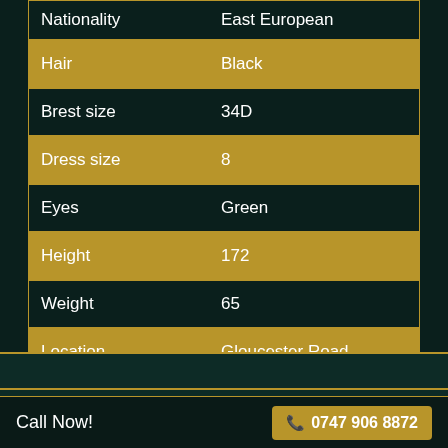| Attribute | Value |
| --- | --- |
| Nationality | East European |
| Hair | Black |
| Brest size | 34D |
| Dress size | 8 |
| Eyes | Green |
| Height | 172 |
| Weight | 65 |
| Location | Gloucester Road |
Massages
Call Now! 📞 0747 906 8872